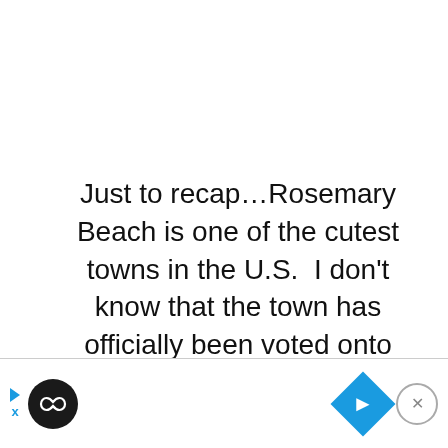Just to recap…Rosemary Beach is one of the cutest towns in the U.S.  I don't know that the town has officially been voted onto some list, but I'm declaring it here. We spent a week of fun in the sun with our family of six having the BEST time!
[Figure (other): Advertisement bar at the bottom of the page with a black circle logo containing an infinity symbol on the left, a blue diamond navigation icon in the center-right, and a close (X) circle button on the far right. Small blue play arrow and X icons appear to the left of the logo.]